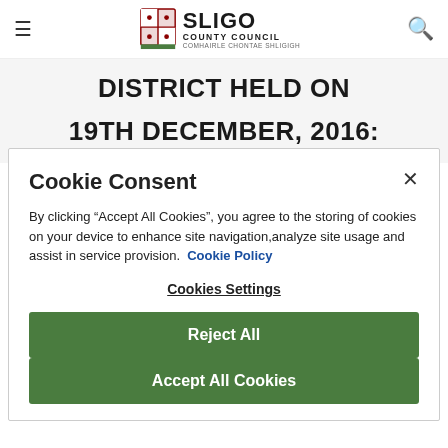Sligo County Council
DISTRICT HELD ON
19TH DECEMBER, 2016:
Cookie Consent
By clicking “Accept All Cookies”, you agree to the storing of cookies on your device to enhance site navigation,analyze site usage and assist in service provision.  Cookie Policy
Cookies Settings
Reject All
Accept All Cookies